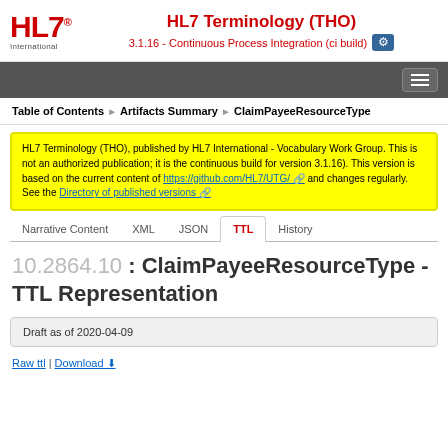HL7 Terminology (THO) 3.1.16 - Continuous Process Integration (ci build)
Table of Contents > Artifacts Summary > ClaimPayeeResourceType
HL7 Terminology (THO), published by HL7 International - Vocabulary Work Group. This is not an authorized publication; it is the continuous build for version 3.1.16). This version is based on the current content of https://github.com/HL7/UTG/ and changes regularly. See the Directory of published versions
Narrative Content | XML | JSON | TTL | History
10.2864.10 : ClaimPayeeResourceType - TTL Representation
Draft as of 2020-04-09
Raw ttl | Download